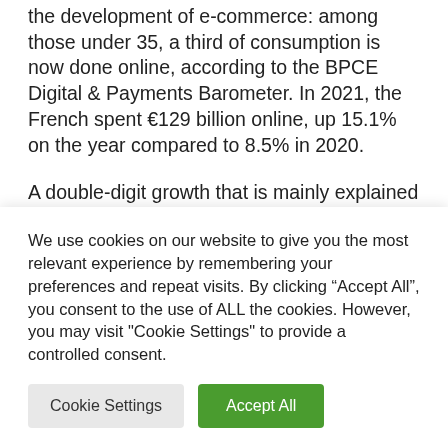the development of e-commerce: among those under 35, a third of consumption is now done online, according to the BPCE Digital & Payments Barometer. In 2021, the French spent €129 billion online, up 15.1% on the year compared to 8.5% in 2020.
A double-digit growth that is mainly explained by a profound change in consumption habits associated with
We use cookies on our website to give you the most relevant experience by remembering your preferences and repeat visits. By clicking "Accept All", you consent to the use of ALL the cookies. However, you may visit "Cookie Settings" to provide a controlled consent.